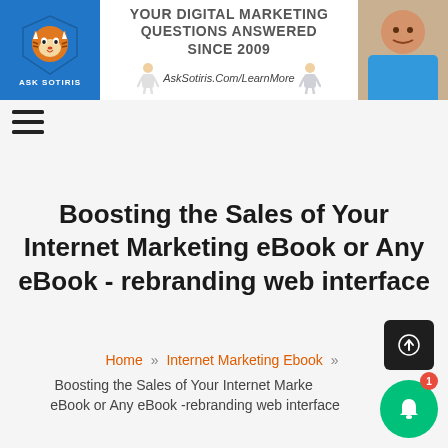[Figure (logo): Ask Sotiris website header banner with tiger logo on blue background on left, tagline 'YOUR DIGITAL MARKETING QUESTIONS ANSWERED SINCE 2009' and 'AskSotiris.Com/LearnMore' in center with illustrated characters, and a photo of a man on the right]
[Figure (infographic): Hamburger menu icon (three horizontal bars)]
Boosting the Sales of Your Internet Marketing eBook or Any eBook - rebranding web interface
Home » Internet Marketing Ebook »
Boosting the Sales of Your Internet Marketing eBook or Any eBook -rebranding web interface